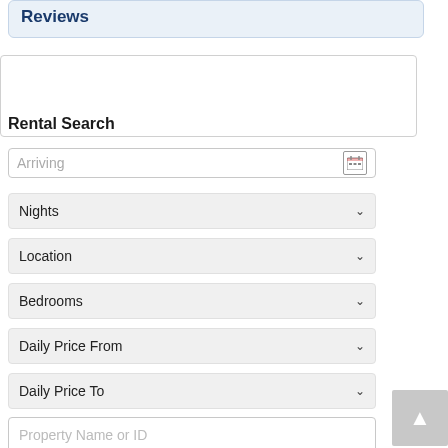Reviews
Rental Search
Arriving
Nights
Location
Bedrooms
Daily Price From
Daily Price To
Property Name or ID
Display Results